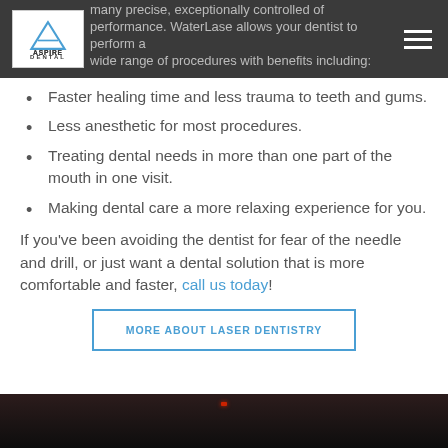Aspire Dental logo and navigation bar
many precise, exceptionally controlled of performance. WaterLase allows your dentist to perform a wide range of procedures with benefits including:
Faster healing time and less trauma to teeth and gums.
Less anesthetic for most procedures.
Treating dental needs in more than one part of the mouth in one visit.
Making dental care a more relaxing experience for you.
If you've been avoiding the dentist for fear of the needle and drill, or just want a dental solution that is more comfortable and faster, call us today!
MORE ABOUT LASER DENTISTRY
[Figure (photo): Dark image of what appears to be the exterior of the dental office building at night]